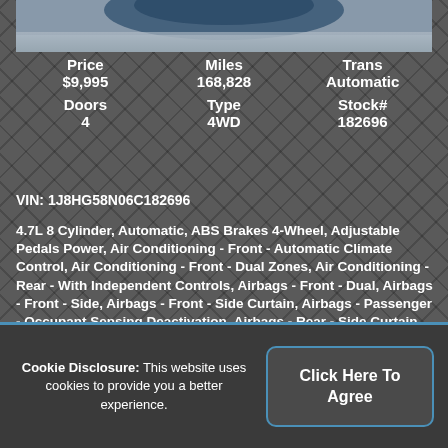[Figure (photo): Top portion of a vehicle (car/SUV) shown cropped, grey background]
| Price | Miles | Trans | Doors | Type | Stock# |
| --- | --- | --- | --- | --- | --- |
| $9,995 | 168,828 | Automatic | 4 | 4WD | 182696 |
VIN: 1J8HG58N06C182696
4.7L 8 Cylinder, Automatic, ABS Brakes 4-Wheel, Adjustable Pedals Power, Air Conditioning - Front - Automatic Climate Control, Air Conditioning - Front - Dual Zones, Air Conditioning - Rear - With Independent Controls, Airbags - Front - Dual, Airbags - Front - Side, Airbags - Front - Side Curtain, Airbags - Passenger - Occupant Sensing Deactivation, Airbags - Rear - Side Curtain, Airbags - Third Row - Side Curtain, Audio - . . .
Cookie Disclosure: This website uses cookies to provide you a better experience.
Click Here To Agree